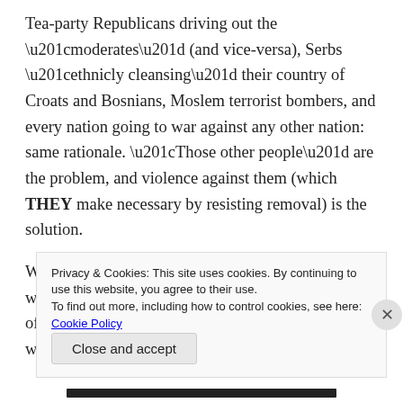Tea-party Republicans driving out the “moderates” (and vice-versa), Serbs “ethnicly cleansing” their country of Croats and Bosnians, Moslem terrorist bombers, and every nation going to war against any other nation: same rationale. “Those other people” are the problem, and violence against them (which THEY make necessary by resisting removal) is the solution.
When “they” are out of the way, the world will be peaceful and righteous. That’s of course what God desires: so we are doing His will when we
Privacy & Cookies: This site uses cookies. By continuing to use this website, you agree to their use.
To find out more, including how to control cookies, see here: Cookie Policy